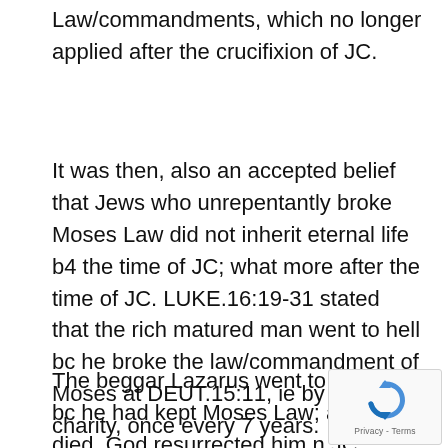Law/commandments, which no longer applied after the crucifixion of JC.
It was then, also an accepted belief that Jews who unrepentantly broke Moses Law did not inherit eternal life b4 the time of JC; what more after the time of JC. LUKE.16:19-31 stated that the rich matured man went to hell bc he broke the law/commandment of Moses at DEUT.15:11, ie by not doing charity, once every 7 years.
The beggar Lazarus went to heaven bc he had kept Moses Law; after he died, God resurrected him n JC preached the gospel of salvation to him (MATT.27:52, 1.PET.3:19 & 4:6).
[Figure (other): reCAPTCHA badge with Privacy - Terms text]